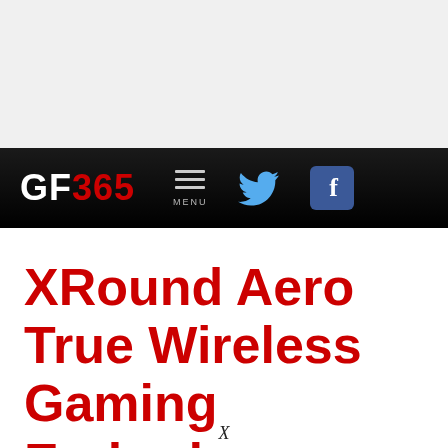[Figure (other): Gray advertisement/banner placeholder area at top of page]
GF365 — navigation bar with menu, Twitter, and Facebook icons
XRound Aero True Wireless Gaming Earbuds Review